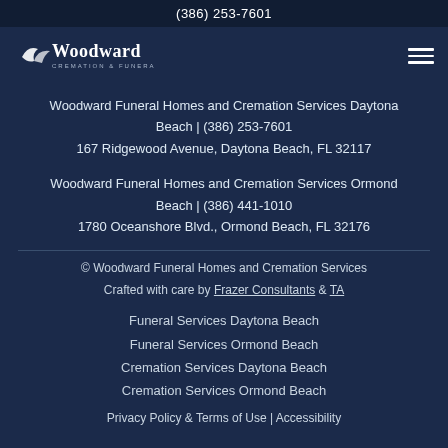(386) 253-7601
[Figure (logo): Woodward Cremation & Funeral Services logo with stylized bird/wing icon]
Woodward Funeral Homes and Cremation Services Daytona Beach | (386) 253-7601
167 Ridgewood Avenue, Daytona Beach, FL 32117
Woodward Funeral Homes and Cremation Services Ormond Beach | (386) 441-1010
1780 Oceanshore Blvd., Ormond Beach, FL 32176
© Woodward Funeral Homes and Cremation Services
Crafted with care by Frazer Consultants & TA
Funeral Services Daytona Beach
Funeral Services Ormond Beach
Cremation Services Daytona Beach
Cremation Services Ormond Beach
Privacy Policy & Terms of Use | Accessibility